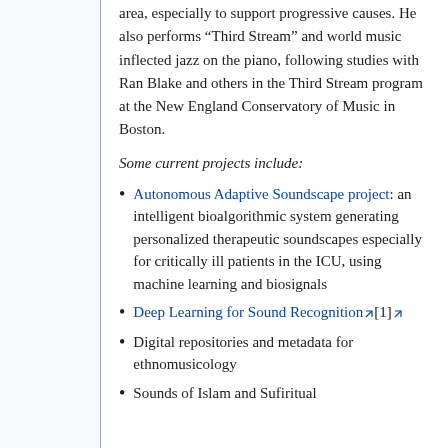area, especially to support progressive causes. He also performs “Third Stream” and world music inflected jazz on the piano, following studies with Ran Blake and others in the Third Stream program at the New England Conservatory of Music in Boston.
Some current projects include:
Autonomous Adaptive Soundscape project: an intelligent bioalgorithmic system generating personalized therapeutic soundscapes especially for critically ill patients in the ICU, using machine learning and biosignals
Deep Learning for Sound Recognition[1]
Digital repositories and metadata for ethnomusicology
Sounds of Islam and Sufiritual